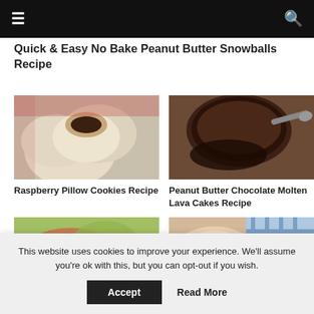Quick & Easy No Bake Peanut Butter Snowballs Recipe
[Figure (photo): Raspberry Pillow Cookies — round cookies with chocolate filling, one cut open]
Raspberry Pillow Cookies Recipe
[Figure (photo): Peanut Butter Chocolate Molten Lava Cakes — dark chocolate cake with spoon]
Peanut Butter Chocolate Molten Lava Cakes Recipe
[Figure (photo): Partially visible food item with green/red tones]
[Figure (photo): Partially visible dish with blue checkered cloth]
This website uses cookies to improve your experience. We'll assume you're ok with this, but you can opt-out if you wish.